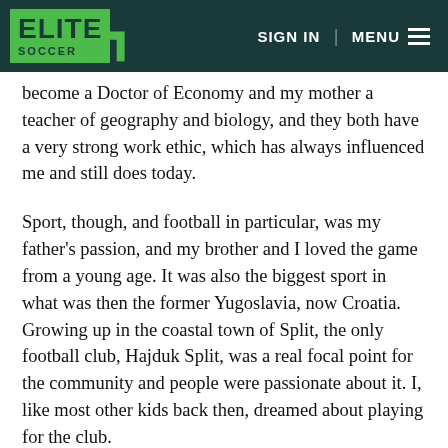ELITE SOCCER | SIGN IN | MENU
become a Doctor of Economy and my mother a teacher of geography and biology, and they both have a very strong work ethic, which has always influenced me and still does today.
Sport, though, and football in particular, was my father's passion, and my brother and I loved the game from a young age. It was also the biggest sport in what was then the former Yugoslavia, now Croatia. Growing up in the coastal town of Split, the only football club, Hajduk Split, was a real focal point for the community and people were passionate about it. I, like most other kids back then, dreamed about playing for the club.
I started playing football properly at the age of 10, but from five years old I did a lot of swimming, and I think it's the best first sport for children to get involved in. It can help later on with whatever